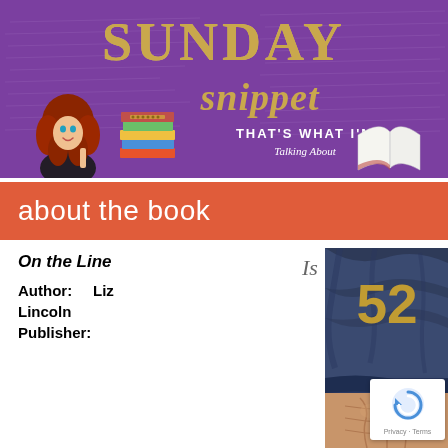[Figure (illustration): Sunday Snippet banner with purple background, handwriting texture, gold serif SUNDAY text, gold italic snippet text, cartoon girl with red hair holding books on left, stacked colorful books in center, open book on right, 'THAT'S WHAT I'M Talking About' text in center-right]
about the book
On the Line
Author:      Liz Lincoln
Publisher:
[Figure (photo): Close-up photo of athletic male torso wearing blue and gold sports jersey with number, abs visible below]